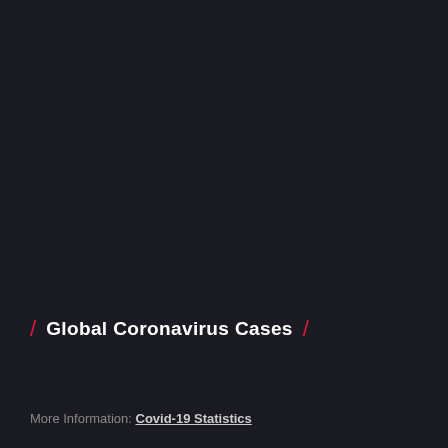/ Global Coronavirus Cases /
More Information: Covid-19 Statistics